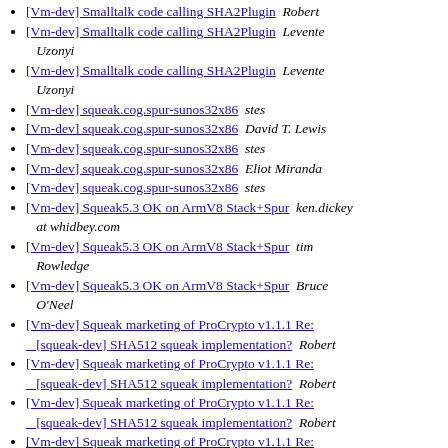[Vm-dev] Smalltalk code calling SHA2Plugin  Robert
[Vm-dev] Smalltalk code calling SHA2Plugin  Levente Uzonyi
[Vm-dev] Smalltalk code calling SHA2Plugin  Levente Uzonyi
[Vm-dev] squeak.cog.spur-sunos32x86  stes
[Vm-dev] squeak.cog.spur-sunos32x86  David T. Lewis
[Vm-dev] squeak.cog.spur-sunos32x86  stes
[Vm-dev] squeak.cog.spur-sunos32x86  Eliot Miranda
[Vm-dev] squeak.cog.spur-sunos32x86  stes
[Vm-dev] Squeak5.3 OK on ArmV8 Stack+Spur  ken.dickey at whidbey.com
[Vm-dev] Squeak5.3 OK on ArmV8 Stack+Spur  tim Rowledge
[Vm-dev] Squeak5.3 OK on ArmV8 Stack+Spur  Bruce O'Neel
[Vm-dev] Squeak marketing of ProCrypto v1.1.1 Re: [squeak-dev] SHA512 squeak implementation?  Robert
[Vm-dev] Squeak marketing of ProCrypto v1.1.1 Re: [squeak-dev] SHA512 squeak implementation?  Robert
[Vm-dev] Squeak marketing of ProCrypto v1.1.1 Re: [squeak-dev] SHA512 squeak implementation?  Robert
[Vm-dev] Squeak marketing of ProCrypto v1.1.1 Re: [squeak-dev] SHA512 squeak implementation?  Phil B
[Vm-dev] Squeak marketing of ProCrypto v1.1.1 Re: [squeak-dev] SHA512 squeak implementation?  Robert